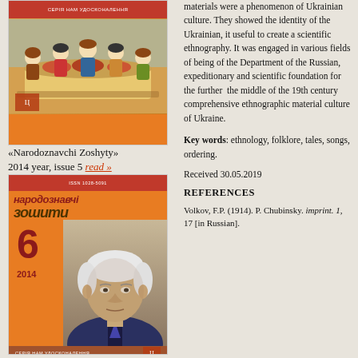[Figure (photo): Book cover of Narodoznavchi Zoshyty 2014 issue 5, orange cover with illustration of people at a table]
«Narodoznavchi Zoshyty» 2014 year, issue 5 read »
[Figure (photo): Book cover of Narodoznavchi Zoshyty 2014 issue 6, orange cover with large number 6 and portrait photo of elderly man]
materials were a phenomenon of Ukrainian culture. They showed the identity of the Ukrainian, it useful to create a scientific ethnography. It was engaged in various fields of being of the Department of the Russian, expeditionary and scientific foundation for the further the middle of the 19th century comprehensive ethnography material culture of Ukraine.
Key words: ethnology, folklore, tales, songs, ordering.
Received 30.05.2019
REFERENCES
Volkov, F.P. (1914). P. Chubinsky. imprint. 1, 17 [in Russian].